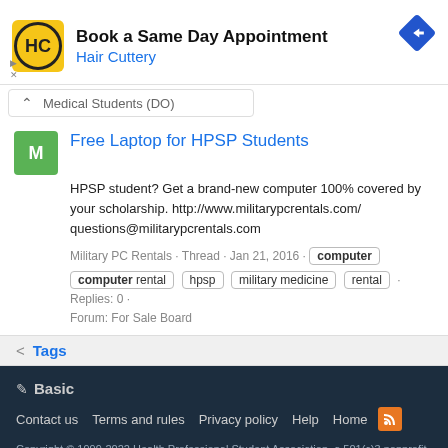[Figure (other): Hair Cuttery advertisement banner with yellow HC logo, 'Book a Same Day Appointment' title, and navigation diamond icon]
Medical Students (DO)
Free Laptop for HPSP Students
HPSP student? Get a brand-new computer 100% covered by your scholarship. http://www.militarypcrentals.com/ questions@militarypcrentals.com
Military PC Rentals · Thread · Jan 21, 2016 · computer | computer rental | hpsp | military medicine | rental · Replies: 0 · Forum: For Sale Board
Tags
Basic · Contact us · Terms and rules · Privacy policy · Help · Home · Copyright © 1999-2022 Health Professional Student Association, a 501(c)3 nonprofit organization. All resources are student and donor supported. | SDN is HON Certified